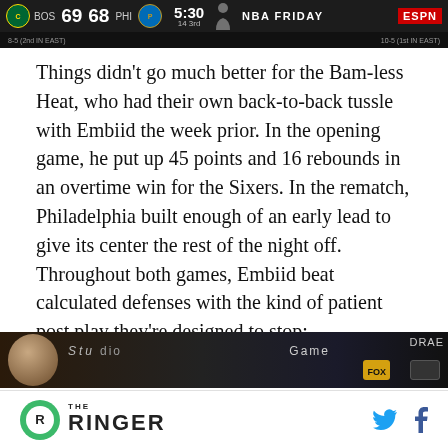[Figure (screenshot): ESPN scoreboard showing Boston Celtics 69 vs Philadelphia 76ers 68, 5:30 in 3rd quarter, NBA Friday]
Things didn't go much better for the Bam-less Heat, who had their own back-to-back tussle with Embiid the week prior. In the opening game, he put up 45 points and 16 rebounds in an overtime win for the Sixers. In the rematch, Philadelphia built enough of an early lead to give its center the rest of the night off. Throughout both games, Embiid beat calculated defenses with the kind of patient post play they're designed to stop:
[Figure (screenshot): Partial TV broadcast screenshot showing studio show graphics]
THE RINGER